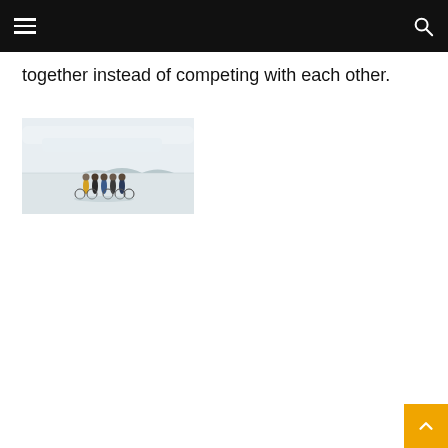together instead of competing with each other.
[Figure (photo): Group of people with bicycles standing together on a flat, open landscape with a pale sky backdrop.]